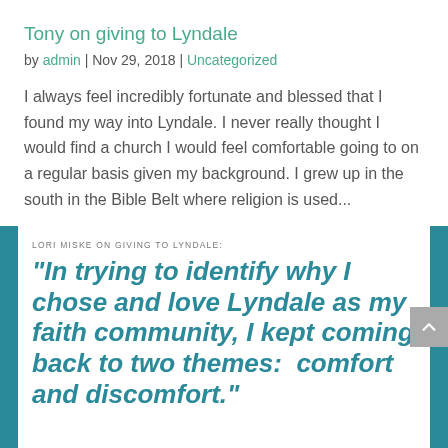Tony on giving to Lyndale
by admin | Nov 29, 2018 | Uncategorized
I always feel incredibly fortunate and blessed that I found my way into Lyndale.   I never really thought I would find a church I would feel comfortable going to on a regular basis given my background. I grew up in the south in the Bible Belt where religion is used...
LORI MISKE ON GIVING TO LYNDALE:
"In trying to identify why I chose and love Lyndale as my faith community, I kept coming back to two themes:  comfort and discomfort."